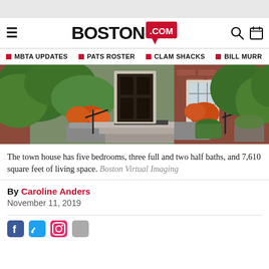Boston.com
MBTA UPDATES | PATS ROSTER | CLAM SHACKS | BILL MURR
[Figure (photo): Exterior photo of a brick town house entrance with stone steps, potted flower arrangements with orange blooms, lush green plants and ivy, a glass-paned door, and black iron railings.]
The town house has five bedrooms, three full and two half baths, and 7,610 square feet of living space. Boston Virtual Imaging
By Caroline Anders
November 11, 2019